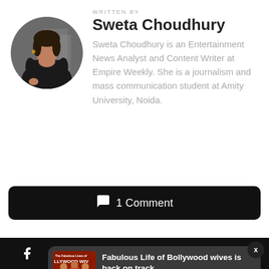WRITTEN BY
Sweta Choudhury
[Figure (photo): Circular profile photo of Sweta Choudhury, a woman in a black jacket]
Sweta Choudhury is an Entertainment News Analyst and Content Writer at Empire Weekly. She is a journalism and mass communication student at Amity University, Noida.
💬 1 Comment
ADVERTISEMENT
Fabulous Life of Bollywood wives is back on track
17 hours ago